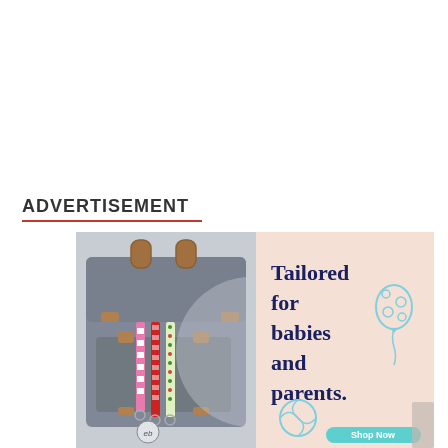ADVERTISEMENT
[Figure (illustration): Advertisement for 'eb' brand baby products. Left half shows a gray diaper backpack with brown leather accents and three colorful pacifier clips (pink checkered, red/white, and green/white patterned) clipped to the front. Right half has a light pink/peach background with dark navy bold text reading 'Tailored for babies and parents.' with a light blue illustrated balloon, a light blue illustrated beach ball, and a teal rounded button labeled 'Shop Now' in white text. The eb logo appears at the bottom left of the bag.]